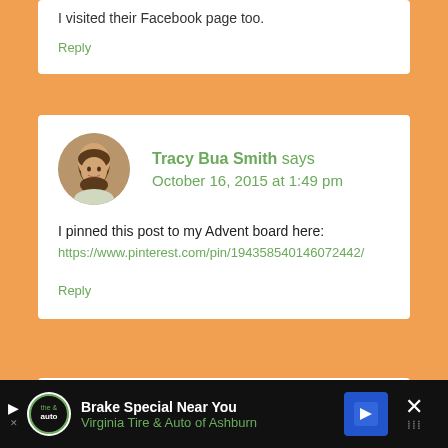I visited their Facebook page too.
Reply
Tracy Bua Smith says October 16, 2015 at 1:49 pm
I pinned this post to my Advent board here: https://www.pinterest.com/pin/194358540146072442/
Reply
[Figure (photo): Advertisement bar at bottom: Brake Special Near You – Virginia Tire & Auto of Ashburn]
[Figure (photo): Profile photo of Tracy Bua Smith – circular avatar of a woman with brown hair smiling]